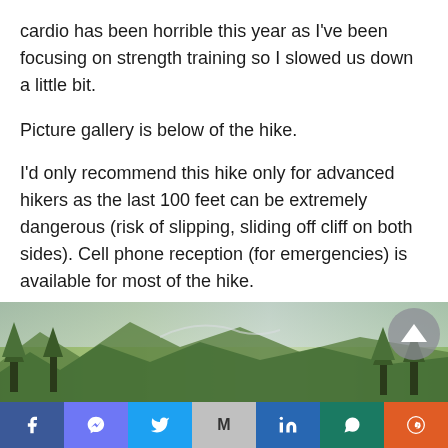cardio has been horrible this year as I've been focusing on strength training so I slowed us down a little bit.
Picture gallery is below of the hike.
I'd only recommend this hike only for advanced hikers as the last 100 feet can be extremely dangerous (risk of slipping, sliding off cliff on both sides). Cell phone reception (for emergencies) is available for most of the hike.
[Figure (photo): Outdoor hiking landscape showing green trees and mountain terrain.]
Social sharing bar with Facebook, Messenger, Twitter, Gmail, LinkedIn, WhatsApp, Reddit buttons